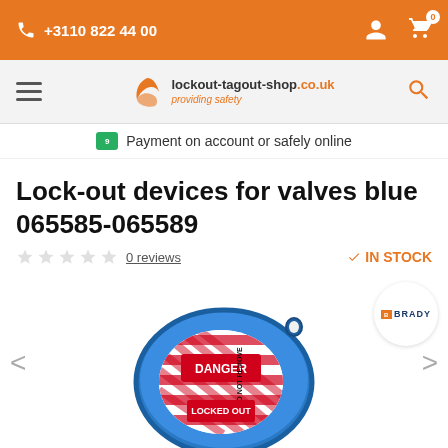+3110 822 44 00
[Figure (logo): lockout-tagout-shop.co.uk providing safety logo with orange swoosh]
Payment on account or safely online
Lock-out devices for valves blue 065585-065589
0 reviews  IN STOCK
[Figure (photo): Blue circular valve lock-out device with red and white DANGER / DO NOT REMOVE / LOCKED OUT labels, Brady brand badge shown in top right corner]